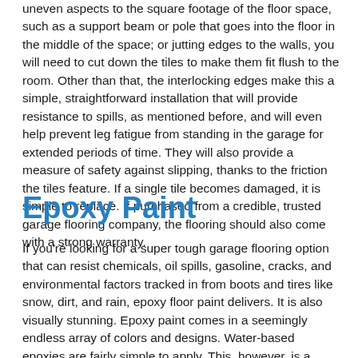uneven aspects to the square footage of the floor space, such as a support beam or pole that goes into the floor in the middle of the space; or jutting edges to the walls, you will need to cut down the tiles to make them fit flush to the room. Other than that, the interlocking edges make this a simple, straightforward installation that will provide resistance to spills, as mentioned before, and will even help prevent leg fatigue from standing in the garage for extended periods of time. They will also provide a measure of safety against slipping, thanks to the friction the tiles feature. If a single tile becomes damaged, it is simple to replace. If purchased from a credible, trusted garage flooring company, the flooring should also come with a strong warranty.
Epoxy Paint
If you're looking for a super tough garage flooring option that can resist chemicals, oil spills, gasoline, cracks, and environmental factors tracked in from boots and tires like snow, dirt, and rain, epoxy floor paint delivers. It is also visually stunning. Epoxy paint comes in a seemingly endless array of colors and designs. Water-based epoxies are fairly simple to apply. This, however, is a multi-step process that is more complex than interlocking rubber tiles